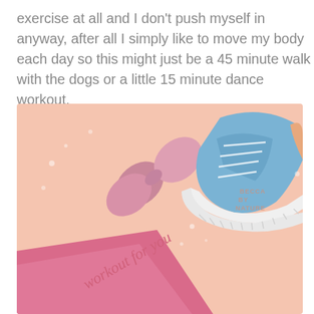exercise at all and I don't push myself in anyway, after all I simply like to move my body each day so this might just be a 45 minute walk with the dogs or a little 15 minute dance workout.
[Figure (illustration): Illustrated image with a peach/salmon background showing a pink dumbbell weight and a blue sneaker/training shoe. A pink yoga mat or surface is visible at the bottom left. Handwritten-style text reads 'workout for you'. A small watermark reads 'BECCA BY NATURE' in the upper right area.]